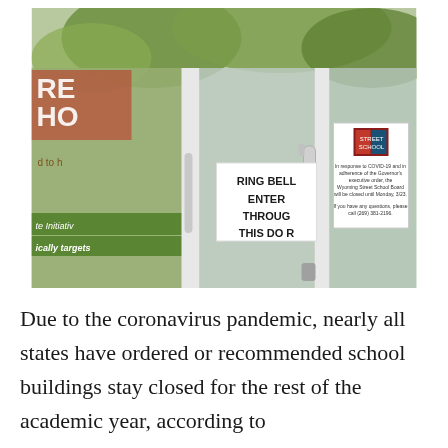[Figure (photo): A photo of glass doors of a school building, with signs posted. One sign reads 'RING BELL ENTER THROUGH THIS DOOR' and another appears to be a COVID-19 closure notice with a logo. Trees and other signage reflecting in the glass in the background.]
Due to the coronavirus pandemic, nearly all states have ordered or recommended school buildings stay closed for the rest of the academic year, according to